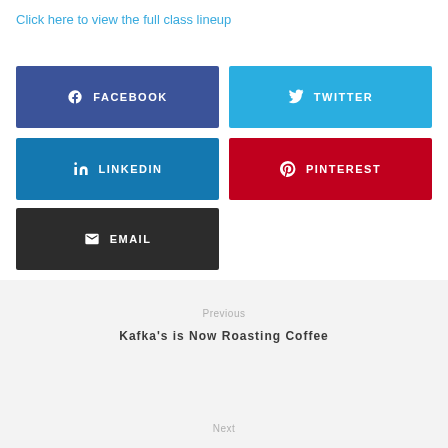Click here to view the full class lineup
[Figure (other): Social share buttons: Facebook, Twitter, LinkedIn, Pinterest, Email]
Previous
Kafka's is Now Roasting Coffee
Next